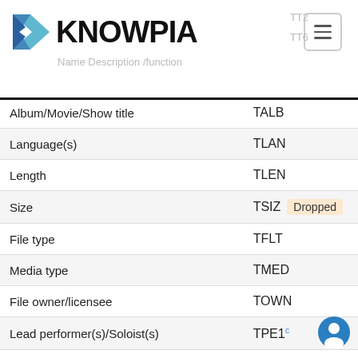KNOWPIA
| Name/Description/function | ID3v2 |
| --- | --- |
| Album/Movie/Show title | TALB |
| Language(s) | TLAN |
| Length | TLEN |
| Size | TSIZ  Dropped |
| File type | TFLT |
| Media type | TMED |
| File owner/licensee | TOWN |
| Lead performer(s)/Soloist(s) | TPE1 |
| Band/orchestra/accompaniment | TPE2 |
| Conductor/performer refinement | TPE3 |
| Interpreted, remixed, or otherwise modified by | TPE4 |
| Composer | TCOM |
| Lyricist/Text writer | TEXT |